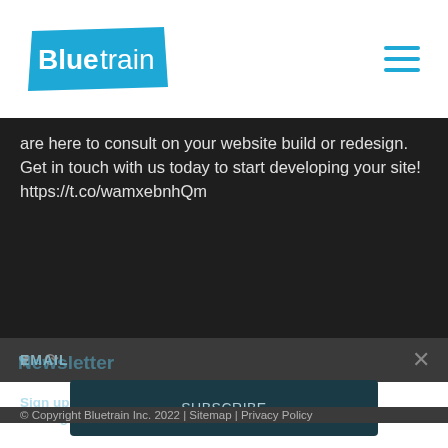Bluetrain [logo]
are here to consult on your website build or redesign. Get in touch with us today to start developing your site! https://t.co/wamxebnhQm
Newsletter
© Copyright Bluetrain Inc. 2022 | Sitemap | Privacy Policy
Sign up for our Newsletter for regular updates and digital marketing bonus.
EMAIL
SUBSCRIBE